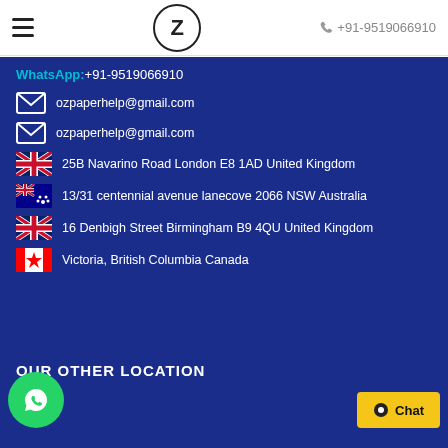≡  Z  +91-9519066910
WhatsApp: +91-9519066910
ozpaperhelp@gmail.com
ozpaperhelp@gmail.com
25B Navarino Road London E8 1AD United Kingdom
13/31 centennial avenue lanecove 2066 NSW Australia
16 Denbigh Street Birmingham B9 4QU United Kingdom
Victoria, British Columbia Canada
OUR OTHER LOCATION